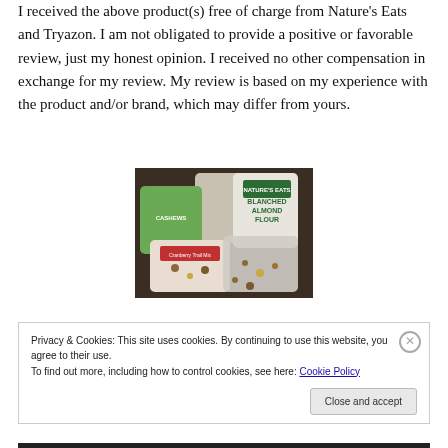I received the above product(s) free of charge from Nature's Eats and Tryazon. I am not obligated to provide a positive or favorable review, just my honest opinion. I received no other compensation in exchange for my review. My review is based on my experience with the product and/or brand, which may differ from yours.
[Figure (photo): Photo of several Nature's Eats brand products including almond flour and mixed nuts bags arranged on a dark surface.]
Privacy & Cookies: This site uses cookies. By continuing to use this website, you agree to their use. To find out more, including how to control cookies, see here: Cookie Policy